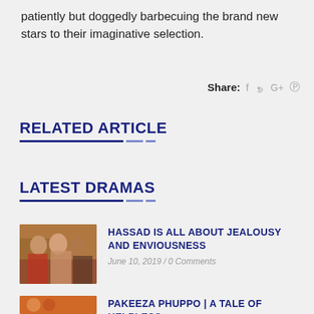patiently but doggedly barbecuing the brand new stars to their imaginative selection.
Share: f t G+ p
RELATED ARTICLE
LATEST DRAMAS
HASSAD IS ALL ABOUT JEALOUSY AND ENVIOUSNESS
June 10, 2019 / 0 Comments
PAKEEZA PHUPPO | A TALE OF HELPLESS